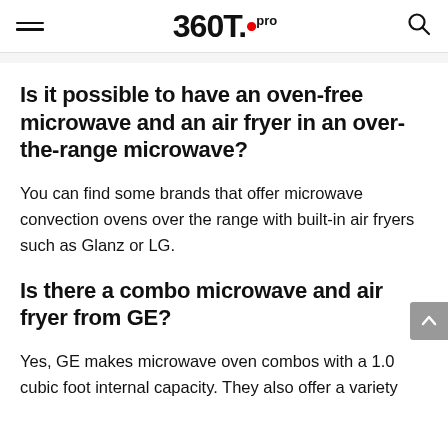360T.pro
Is it possible to have an oven-free microwave and an air fryer in an over-the-range microwave?
You can find some brands that offer microwave convection ovens over the range with built-in air fryers such as Glanz or LG.
Is there a combo microwave and air fryer from GE?
Yes, GE makes microwave oven combos with a 1.0 cubic foot internal capacity. They also offer a variety